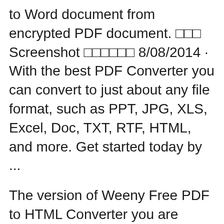to Word document from encrypted PDF document. □□□ Screenshot □□□□□□ 8/08/2014 · With the best PDF Converter you can convert to just about any file format, such as PPT, JPG, XLS, Excel, Doc, TXT, RTF, HTML, and more. Get started today by ...
The version of Weeny Free PDF to HTML Converter you are about to download is 1.1. The software is periodically scanned by our antivirus system. We also encourage you to check the files with your own antivirus before launching the installation. This download is provided to you free of charge. Boxoft PDF to HTML Freeware is a standalone converter for you to batch